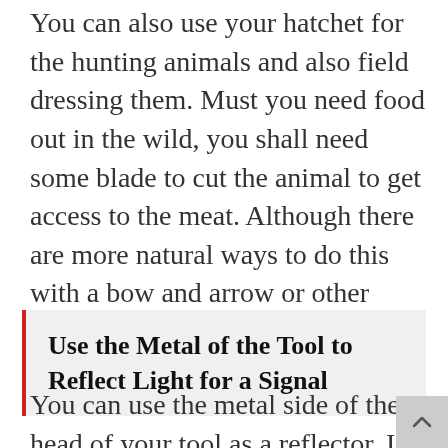You can also use your hatchet for the hunting animals and also field dressing them. Must you need food out in the wild, you shall need some blade to cut the animal to get access to the meat. Although there are more natural ways to do this with a bow and arrow or other weapons, as a last resort, the hatchet can do amazing things.
Use the Metal of the Tool to Reflect Light for a Signal
You can use the metal side of the head of your tool as a reflector. If a plane or the